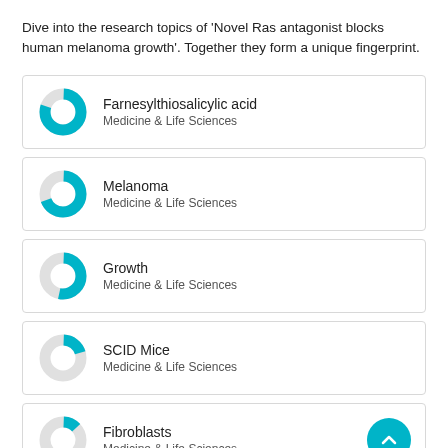Dive into the research topics of 'Novel Ras antagonist blocks human melanoma growth'. Together they form a unique fingerprint.
Farnesylthiosalicylic acid — Medicine & Life Sciences
Melanoma — Medicine & Life Sciences
Growth — Medicine & Life Sciences
SCID Mice — Medicine & Life Sciences
Fibroblasts — Medicine & Life Sciences